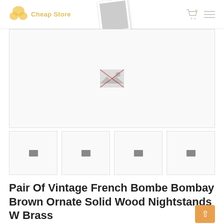Cheap Store
[Figure (screenshot): E-commerce product page screenshot showing a main product image placeholder (large white/gray area with broken image icon) and four thumbnail image placeholders below it, followed by a product title and review count.]
Pair Of Vintage French Bombe Bombay Brown Ornate Solid Wood Nightstands W Brass
6 Reviews